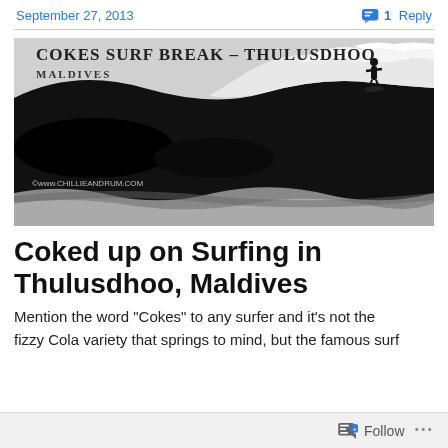September 27, 2013 | 1 Reply
[Figure (photo): Black and white photograph of a surfer riding a large wave at Cokes Surf Break, Thulusdhoo, Maldives. Text overlay reads 'COKES SURF BREAK - THULUSDHOO MALDIVES'. Copyright watermark: www.chillieandrum.com]
Coked up on Surfing in Thulusdhoo, Maldives
Mention the word "Cokes" to any surfer and it's not the fizzy Cola variety that springs to mind, but the famous surf